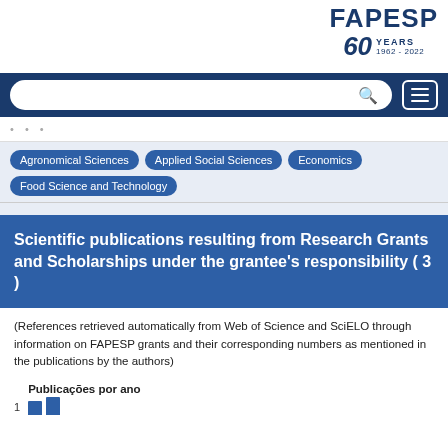FAPESP 60 YEARS 1962 - 2022
[Figure (screenshot): FAPESP 60 Years 1962-2022 logo in top right corner]
[Figure (screenshot): Navigation bar with search box and hamburger menu on dark blue background]
Agronomical Sciences
Applied Social Sciences
Economics
Food Science and Technology
Scientific publications resulting from Research Grants and Scholarships under the grantee's responsibility ( 3 )
(References retrieved automatically from Web of Science and SciELO through information on FAPESP grants and their corresponding numbers as mentioned in the publications by the authors)
Publicações por ano
[Figure (bar-chart): Partial bar chart showing 'Publicações por ano' with number 1 visible and two blue bars partially visible at bottom]